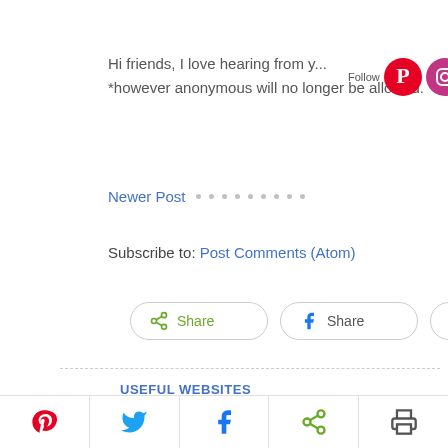Hi friends, I love hearing from y... *however anonymous will no longer be allowed.
Newer Post
Subscribe to: Post Comments (Atom)
[Figure (screenshot): Share buttons: generic Share, Facebook Share, Pinterest Pin]
USEFUL WEBSITES
AUTHENTIC HAVEN BRAND
BAKER CREEK HEIRLOOM SEEDS
BIBLEGATEWAY
[Figure (screenshot): Bottom social share bar with Pinterest, Twitter, Facebook, Share, Print icons]